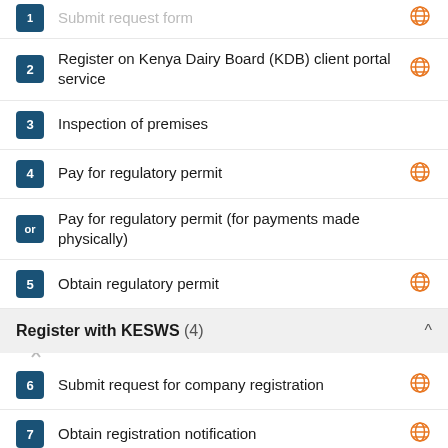Submit request form (partial, cut off at top)
2 Register on Kenya Dairy Board (KDB) client portal service
3 Inspection of premises
4 Pay for regulatory permit
or Pay for regulatory permit (for payments made physically)
5 Obtain regulatory permit
Register with KESWS  (4)
6 Submit request for company registration
7 Obtain registration notification
8 User registration
9 Obtain user credentials
Obtain registration letter  (3)